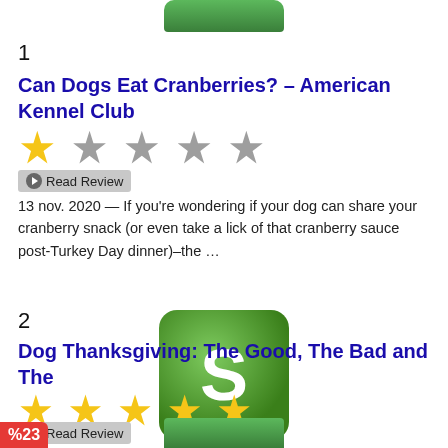[Figure (screenshot): Green button partially visible at top of page]
1
Can Dogs Eat Cranberries? – American Kennel Club
[Figure (other): Star rating row: 1 yellow star, 4 grey stars]
Read Review
13 nov. 2020 — If you're wondering if your dog can share your cranberry snack (or even take a lick of that cranberry sauce post-Turkey Day dinner)–the ...
[Figure (logo): Green rounded square button with white letter S]
2
Dog Thanksgiving: The Good, The Bad and The
[Figure (other): Star rating row: 5 yellow stars]
Read Review
21 nov. 2015 — On Thanksgiving, if you're making cranberry sauce from scratch with fresh fruit, feel free to share. But Note: Do not give the canned cranberry ...
%23
[Figure (other): Green button partially visible at bottom of page]